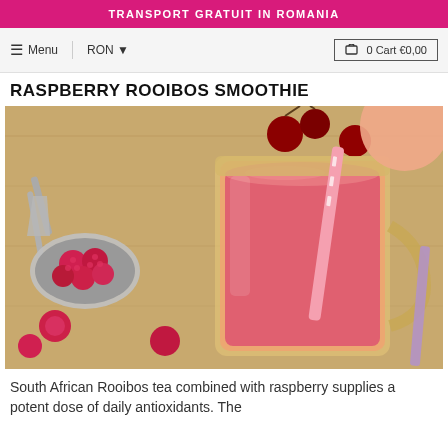TRANSPORT GRATUIT IN ROMANIA
≡ Menu   RON ▼   🛒 0 Cart €0,00
RASPBERRY ROOIBOS SMOOTHIE
[Figure (photo): A glass mason jar filled with pink-red raspberry rooibos smoothie with a pink and white striped straw, surrounded by fresh raspberries and cherries on a wooden surface, with a metal scoop holding raspberries on the left.]
South African Rooibos tea combined with raspberry supplies a potent dose of daily antioxidants. The